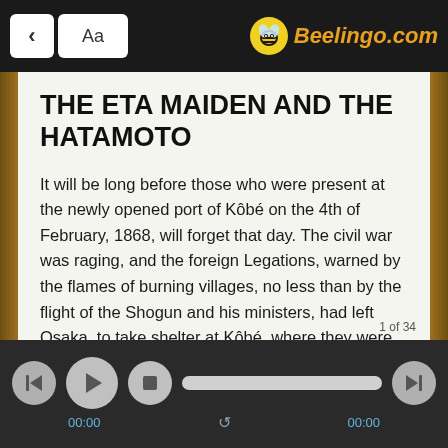< Aa  Beelingo.com
THE ETA MAIDEN AND THE HATAMOTO
It will be long before those who were present at the newly opened port of Kôbé on the 4th of February, 1868, will forget that day. The civil war was raging, and the foreign Legations, warned by the flames of burning villages, no less than by the flight of the Shogun and his ministers, had left Osaka, to take shelter at Kôbé, where they were not, as at the former place, separated from their ships by more than twenty miles of road, occupied by armed troops in a high state of excitement, with the alternative of crossing in tempestuous weather
1 of 34